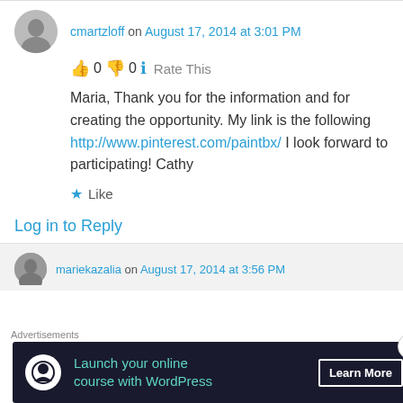cmartzloff on August 17, 2014 at 3:01 PM
👍 0 👎 0 ℹ Rate This
Maria, Thank you for the information and for creating the opportunity. My link is the following http://www.pinterest.com/paintbx/ I look forward to participating! Cathy
★ Like
Log in to Reply
mariekazalia on August 17, 2014 at 3:56 PM
Advertisements
Launch your online course with WordPress  Learn More